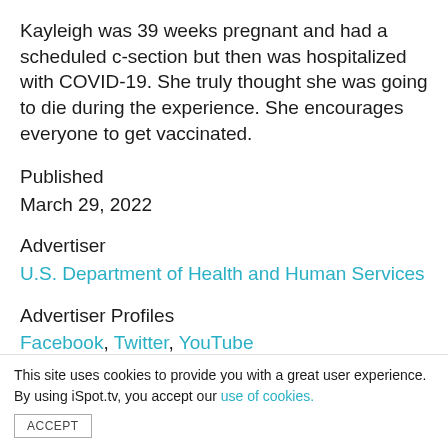Kayleigh was 39 weeks pregnant and had a scheduled c-section but then was hospitalized with COVID-19. She truly thought she was going to die during the experience. She encourages everyone to get vaccinated.
Published
March 29, 2022
Advertiser
U.S. Department of Health and Human Services
Advertiser Profiles
Facebook, Twitter, YouTube
Tagline
This site uses cookies to provide you with a great user experience. By using iSpot.tv, you accept our use of cookies.
ACCEPT